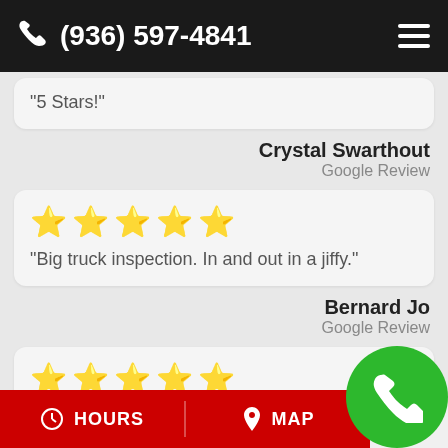(936) 597-4841
“5 Stars!”
Crystal Swarthout
Google Review
“Big truck inspection. In and out in a jiffy.”
Bernard Jo
Google Review
“Wonderful place, caring people that go the extra mile when you are stranded and in of tow or body repair!”
HOURS   MAP